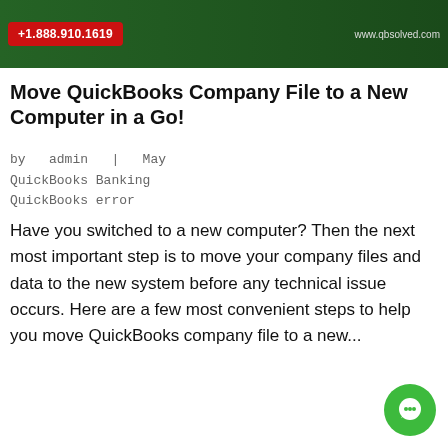[Figure (screenshot): Green banner at top with red phone button showing +1.888.910.1619 and website www.qbsolved.com]
Move QuickBooks Company File to a New Computer in a Go!
by  admin  |  May
QuickBooks Banking  QuickBooks error
[Figure (infographic): Green call-to-action banner with phone icon: For Immediate Help 1-888-910-1619]
Have you switched to a new computer? Then the next most important step is to move your company files and data to the new system before any technical issue occurs. Here are a few most convenient steps to help you move QuickBooks company file to a new...
[Figure (other): Green circular chat/message bubble button in bottom right corner]